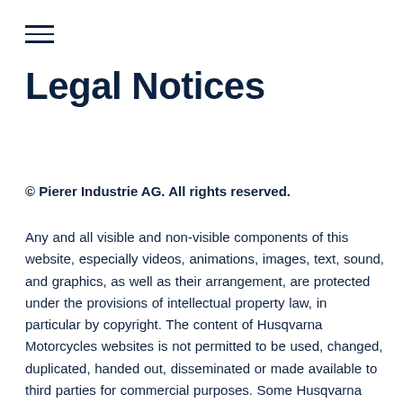≡
Legal Notices
© Pierer Industrie AG. All rights reserved.
Any and all visible and non-visible components of this website, especially videos, animations, images, text, sound, and graphics, as well as their arrangement, are protected under the provisions of intellectual property law, in particular by copyright. The content of Husqvarna Motorcycles websites is not permitted to be used, changed, duplicated, handed out, disseminated or made available to third parties for commercial purposes. Some Husqvarna Motorcycles websites also contain content which is subject to the intellectual property rights of third parties. All trademarks on